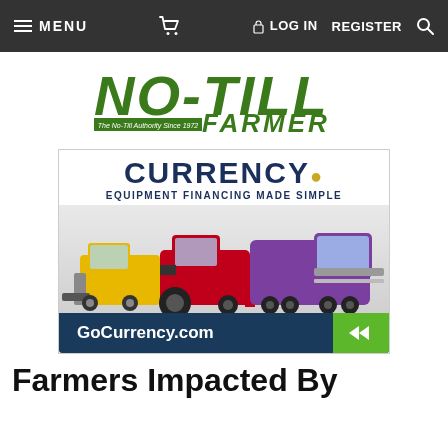☰ MENU   🛒   🔒 LOG IN   REGISTER   🔍
[Figure (logo): No-Till Farmer logo — green bold italic text reading NO-TILL in large letters, with FARMER in smaller caps below, and tagline 'The No-Till Authority Since 1972']
[Figure (infographic): Currency equipment financing advertisement. Shows CURRENCY. in dark blue large text, subtitle EQUIPMENT FINANCING MADE SIMPLE, images of a yellow skid steer, red tractor, and purple semi truck, and a dark blue footer bar with GoCurrency.com and green arrow button.]
Farmers Impacted By